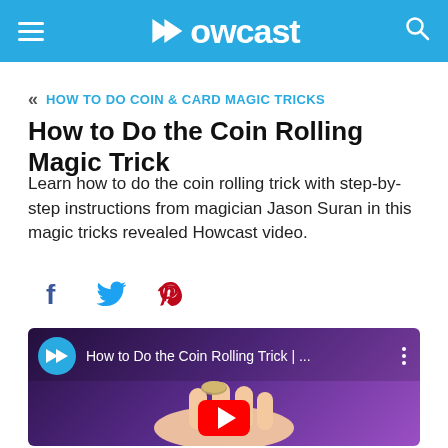Howcast
« HOW TO DO COIN & CARD MAGIC TRICKS
How to Do the Coin Rolling Magic Trick
Learn how to do the coin rolling trick with step-by-step instructions from magician Jason Suran in this magic tricks revealed Howcast video.
[Figure (screenshot): Social sharing icons: Facebook (f), Twitter (bird), Pinterest (P)]
[Figure (screenshot): Video thumbnail showing 'How to Do the Coin Rolling Trick | ...' with Howcast logo circle, three-dot menu, and a hand holding a coin on a purple background with a red YouTube play button at the bottom.]